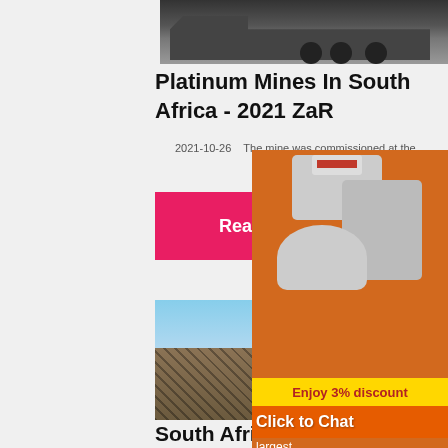[Figure (photo): Black and white photo of a large mining truck or hauler vehicle]
Platinum Mines In South Africa - 2021 ZaR
2021-10-26    The mine was commissioned at the…
Read More
[Figure (photo): Photo of open-cast mining machinery and equipment in a desert landscape]
South Africa?
[Figure (photo): Advertisement sidebar showing mining/crushing machinery on orange background with 'Enjoy 3% discount' and 'Click to Chat' banners, Enquiry button, and limingjlmofen@sina.com email]